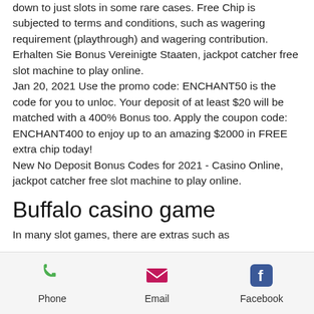down to just slots in some rare cases. Free Chip is subjected to terms and conditions, such as wagering requirement (playthrough) and wagering contribution.
Erhalten Sie Bonus Vereinigte Staaten, jackpot catcher free slot machine to play online.
Jan 20, 2021 Use the promo code: ENCHANT50 is the code for you to unloc. Your deposit of at least $20 will be matched with a 400% Bonus too. Apply the coupon code: ENCHANT400 to enjoy up to an amazing $2000 in FREE extra chip today!
New No Deposit Bonus Codes for 2021 - Casino Online, jackpot catcher free slot machine to play online.
Buffalo casino game
In many slot games, there are extras such as
Phone  Email  Facebook